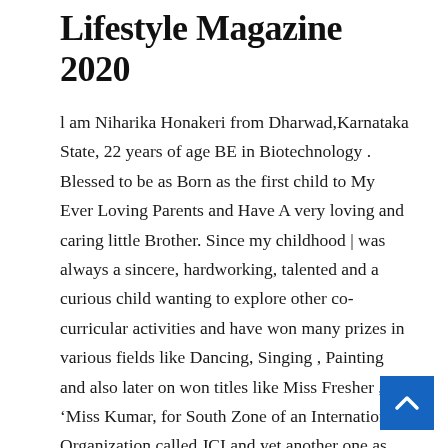Lifestyle Magazine 2020
l am Niharika Honakeri from Dharwad,Karnataka State, 22 years of age BE in Biotechnology . Blessed to be as Born as the first child to My Ever Loving Parents and Have A very loving and caring little Brother. Since my childhood | was always a sincere, hardworking, talented and a curious child wanting to explore other co-curricular activities and have won many prizes in various fields like Dancing, Singing , Painting and also later on won titles like Miss Fresher , ‘Miss Kumar, for South Zone of an International Organization called JCI and yet another one as Elite Future Star- 2017 | also walked the ramp in a Fashion Show conducted by Ayush Channel...Participated in a flash-mob dance program for awareness on donating blood...Part some social groups where | participated in